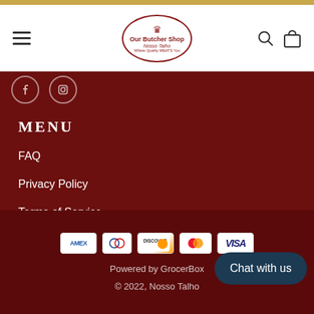[Figure (logo): Our Butcher Shop / Nosso Talho logo in an oval with crown, on white header background]
[Figure (illustration): Two social media icons (Facebook and Instagram) as circles with outlines on dark red background]
MENU
FAQ
Privacy Policy
Terms of Service
[Figure (illustration): Payment method icons: American Express, Diners Club, Discover, Mastercard, Visa]
Powered by GrocerBox
© 2022, Nosso Talho